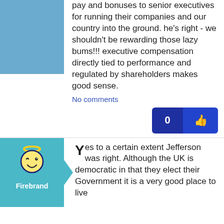pay and bonuses to senior executives for running their companies and our country into the ground. he's right - we shouldn't be rewarding those lazy bums!!! executive compensation directly tied to performance and regulated by shareholders makes good sense.
No comments
[Figure (illustration): Light blue rectangle avatar placeholder (top user)]
[Figure (illustration): Firebrand avatar: teal background with arrow pointer, cartoon character icon with winking face and halo. Username: Firebrand.]
Yes to a certain extent Jefferson was right. Although the UK is democratic in that they elect their Government it is a very good place to live